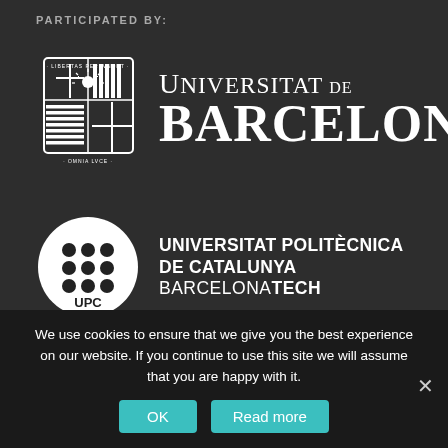PARTICIPATED BY:
[Figure (logo): Universitat de Barcelona logo with shield crest and text 'UNIVERSITAT DE BARCELONA']
[Figure (logo): Universitat Politècnica de Catalunya BarcelonaTech logo with white circle containing 3x3 dot grid and UPC text]
We use cookies to ensure that we give you the best experience on our website. If you continue to use this site we will assume that you are happy with it.